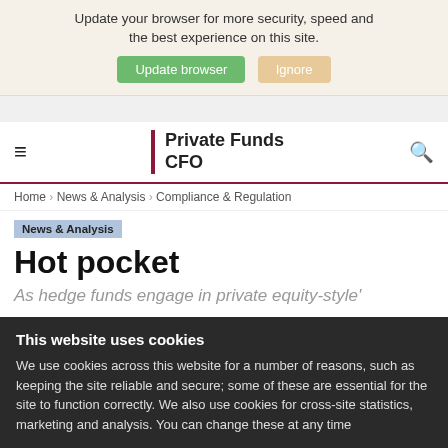Update your browser for more security, speed and the best experience on this site.
Update browser | Ignore
[Figure (logo): Private Funds CFO logo with burgundy vertical bar and bold text]
Home › News & Analysis › Compliance & Regulation
News & Analysis
Hot pocket
As hedge funds engage in private equity-style'
This website uses cookies
We use cookies across this website for a number of reasons, such as keeping the site reliable and secure; some of these are essential for the site to function correctly. We also use cookies for cross-site statistics, marketing and analysis. You can change these at any time